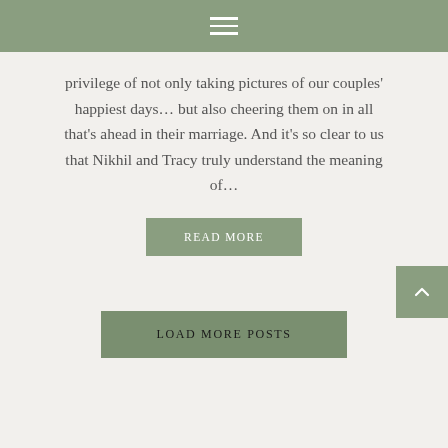☰
privilege of not only taking pictures of our couples' happiest days… but also cheering them on in all that's ahead in their marriage. And it's so clear to us that Nikhil and Tracy truly understand the meaning of…
READ MORE
LOAD MORE POSTS